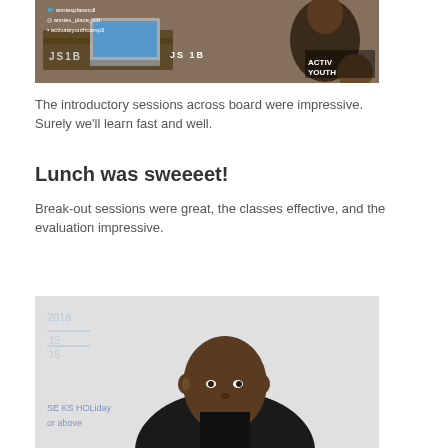[Figure (photo): Photo of a classroom setting with students at desks, a laptop open, and Activate Youth Camp branding visible. Social media handles shown: anniesplacecdl, annies_place_cdl, activateyouthcamp3]
The introductory sessions across board were impressive. Surely we'll learn fast and well.
Lunch was sweeeet!
Break-out sessions were great, the classes effective, and the evaluation impressive.
[Figure (photo): Photo of a man in a black shirt sitting in front of a whiteboard with blue writing including words like 'HOLiday' and partial text visible.]